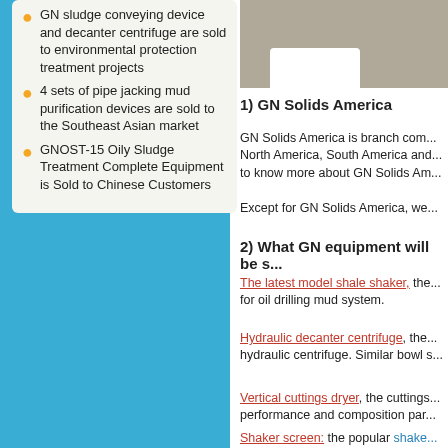GN sludge conveying device and decanter centrifuge are sold to environmental protection treatment projects
4 sets of pipe jacking mud purification devices are sold to the Southeast Asian market
GNOST-15 Oily Sludge Treatment Complete Equipment is Sold to Chinese Customers
[Figure (photo): Photo of white shelf/equipment on beige/brown background]
1) GN Solids America
GN Solids America is branch com... North America, South America and... to know more about GN Solids Am...
Except for GN Solids America, we...
2) What GN equipment will be s...
The latest model shale shaker, the... for oil drilling mud system.
Hydraulic decanter centrifuge, the... hydraulic centrifuge. Similar bowl s...
Vertical cuttings dryer, the cuttings... performance and composition par...
Shaker screen: the popular shake... Mongoose shakers, etc.